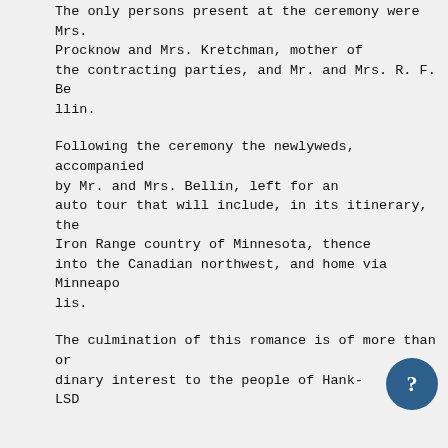The only persons present at the ceremony were Mrs. Procknow and Mrs. Kretchman, mother of the contracting parties, and Mr. and Mrs. R. F. Bellin.
Following the ceremony the newlyweds, accompanied by Mr. and Mrs. Bellin, left for an auto tour that will include, in its itinerary, the Iron Range country of Minnesota, thence into the Canadian northwest, and home via Minneapolis.
The culmination of this romance is of more than ordinary interest to the people of Hank-LSD
inson vicinity as the newlyweds have lived here practically all their lives and have scores of friends and well wishers throughout the county. The bride is a daughter of Mrs. Herman Prochnow and has been a member of the telephone office for several years. She is an accomplished young lady, popular with all who know her.